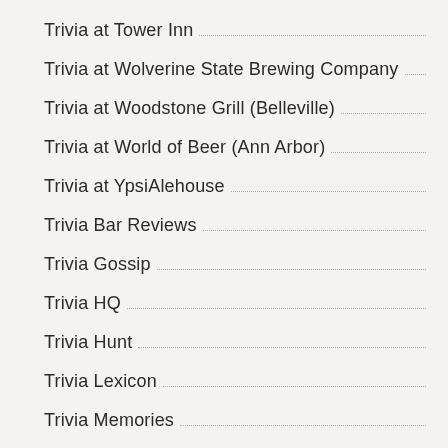Trivia at Tower Inn
Trivia at Wolverine State Brewing Company
Trivia at Woodstone Grill (Belleville)
Trivia at World of Beer (Ann Arbor)
Trivia at YpsiAlehouse
Trivia Bar Reviews
Trivia Gossip
Trivia HQ
Trivia Hunt
Trivia Lexicon
Trivia Memories